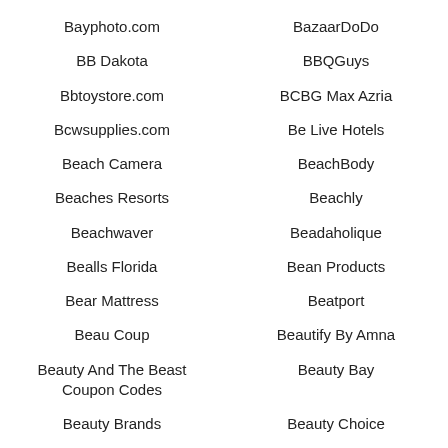Bayphoto.com
BazaarDoDo
BB Dakota
BBQGuys
Bbtoystore.com
BCBG Max Azria
Bcwsupplies.com
Be Live Hotels
Beach Camera
BeachBody
Beaches Resorts
Beachly
Beachwaver
Beadaholique
Bealls Florida
Bean Products
Bear Mattress
Beatport
Beau Coup
Beautify By Amna
Beauty And The Beast Coupon Codes
Beauty Bay
Beauty Brands
Beauty Choice
Beauty Encounter
Beauty Expert Coupon